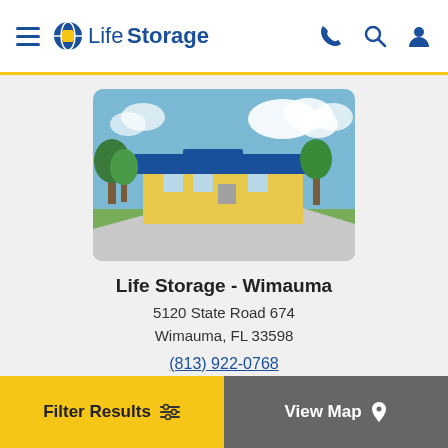Life Storage
[Figure (photo): Exterior photo of Life Storage facility in Wimauma, FL — a low building with blue roof overhang, yellow walls, wide concrete driveway, green lawn, and blue sky with clouds]
Life Storage - Wimauma
5120 State Road 674
Wimauma, FL 33598
(813) 922-0768
View on Map
4.87/5
Filter Results   View Map